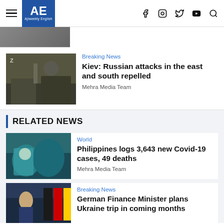AE Ajiweekly English
[Figure (photo): Partial top article image cropped]
[Figure (photo): Military trucks with soldiers bearing Z marking]
Breaking News
Kiev: Russian attacks in the east and south repelled
Mehra Media Team
RELATED NEWS
[Figure (photo): Healthcare worker in blue PPE examining patient with mask]
World
Philippines logs 3,643 new Covid-19 cases, 49 deaths
Mehra Media Team
[Figure (photo): German Finance Minister at podium with German flag]
Breaking News
German Finance Minister plans Ukraine trip in coming months